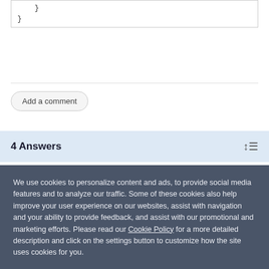}
}
Add a comment
4 Answers
We use cookies to personalize content and ads, to provide social media features and to analyze our traffic. Some of these cookies also help improve your user experience on our websites, assist with navigation and your ability to provide feedback, and assist with our promotional and marketing efforts. Please read our Cookie Policy for a more detailed description and click on the settings button to customize how the site uses cookies for you.
ACCEPT COOKIES
COOKIES SETTINGS